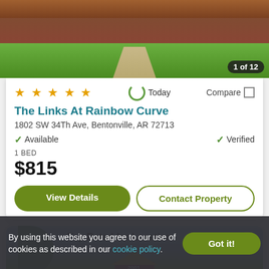[Figure (photo): Exterior photo of a residential property with green lawn and brick house, showing '1 of 12' badge]
★★★★★ (4.5 stars)  Today  Compare
The Links At Rainbow Curve
1802 SW 34Th Ave, Bentonville, AR 72713
✓ Available   ✓ Verified
1 BED
$815
View Details   Contact Property
[Figure (photo): Photo of second property listing with 'Top Rated for Location' label and heart/favorite button]
By using this website you agree to our use of cookies as described in our cookie policy.
Got it!